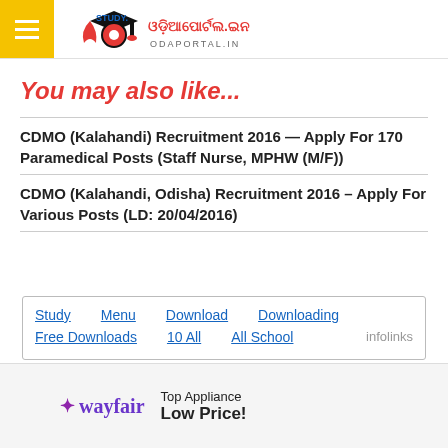TopOdiaPortal.in - Study Menu Download Downloading
You may also like...
CDMO (Kalahandi) Recruitment 2016 — Apply For 170 Paramedical Posts (Staff Nurse, MPHW (M/F))
CDMO (Kalahandi, Odisha) Recruitment 2016 – Apply For Various Posts (LD: 20/04/2016)
Study | Menu | Download | Downloading | Free Downloads | 10 All | All School | infolinks
[Figure (logo): Wayfair advertisement with logo and text: Top Appliance Low Price!]